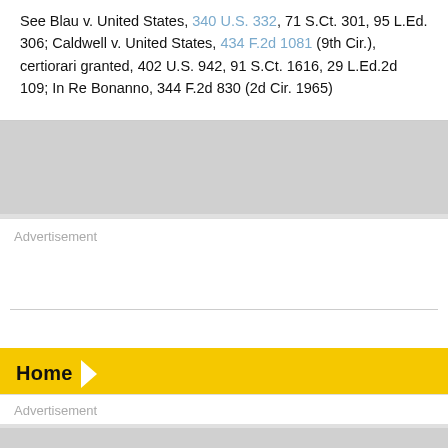See Blau v. United States, 340 U.S. 332, 71 S.Ct. 301, 95 L.Ed. 306; Caldwell v. United States, 434 F.2d 1081 (9th Cir.), certiorari granted, 402 U.S. 942, 91 S.Ct. 1616, 29 L.Ed.2d 109; In Re Bonanno, 344 F.2d 830 (2d Cir. 1965)
[Figure (other): Advertisement placeholder box with grey label text]
Home
[Figure (other): Advertisement placeholder box with grey label text]